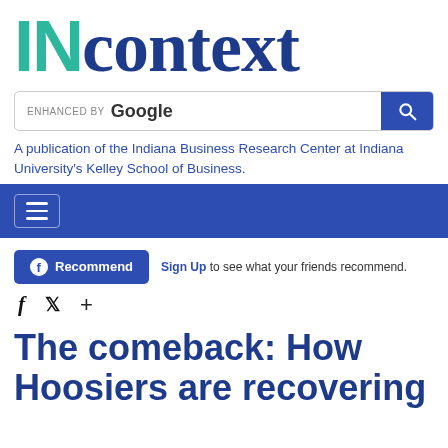[Figure (logo): INcontext logo with teal IN and dark blue 'context' text]
[Figure (screenshot): Enhanced by Google search bar with blue search button]
A publication of the Indiana Business Research Center at Indiana University's Kelley School of Business.
[Figure (screenshot): Dark blue navigation bar with hamburger menu icon]
[Figure (screenshot): Facebook Recommend button and social sharing icons]
The comeback: How Hoosiers are recovering